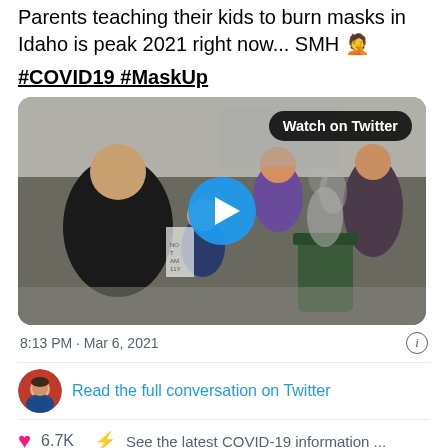Parents teaching their kids to burn masks in Idaho is peak 2021 right now... SMH 🤦
#COVID19 #MaskUp
[Figure (screenshot): Video thumbnail showing a crowd of people outdoors with children and adults near a burning barrel, with smoke rising. A blue circular play button is in the center and a 'Watch on Twitter' badge is in the upper right.]
8:13 PM · Mar 6, 2021
Read the full conversation on Twitter
6.7K  See the latest COVID-19 information ...
Read 1.8K replies